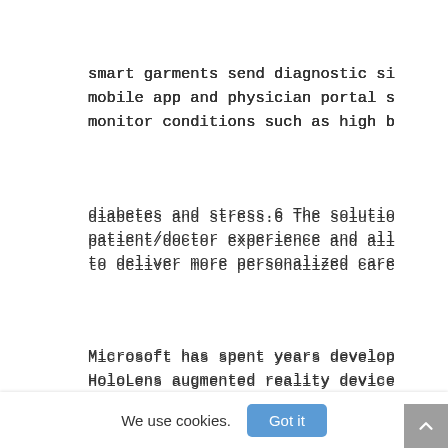smart garments send diagnostic si
mobile app and physician portal s
monitor conditions such as high b
diabetes and stress.6 The solutio
patient/doctor experience and all
to deliver more personalized care
Microsoft has spent years develop
HoloLens augmented reality device
thinking about use cases where th
of the digital world could be vis
and blended onto a user’s physica
But now with Project Tokyo, the C